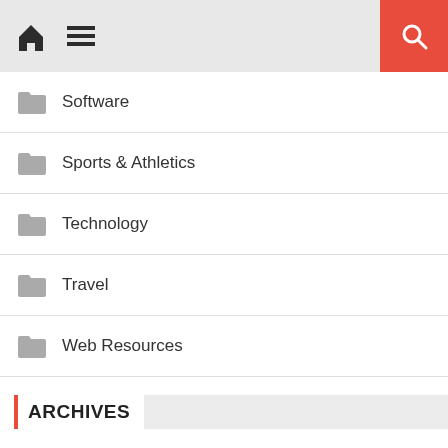Navigation header with home, menu, and search icons
Software
Sports & Athletics
Technology
Travel
Web Resources
ARCHIVES
August 2022
July 2022
June 2022